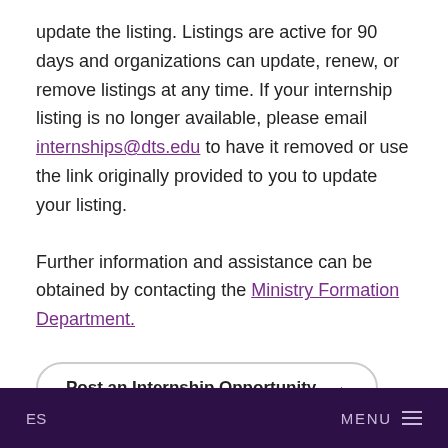update the listing. Listings are active for 90 days and organizations can update, renew, or remove listings at any time. If your internship listing is no longer available, please email internships@dts.edu to have it removed or use the link originally provided to you to update your listing.
Further information and assistance can be obtained by contacting the Ministry Formation Department.
Post an Internship Opportunity →
ES   MENU ☰